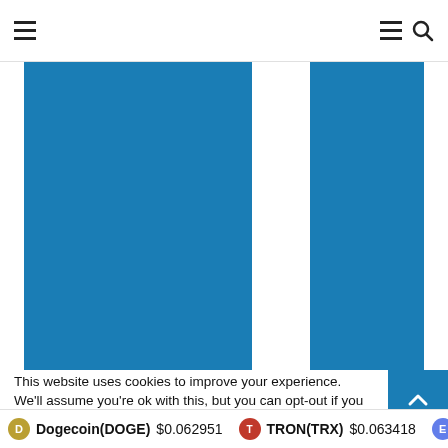Navigation header with hamburger menu and search icon
[Figure (bar-chart): Two tall blue vertical bars visible, cropped at top — part of a bar chart. Left bar is wider, right bar is narrower. Both are solid steel blue (#1a7db5). No axis labels visible.]
This website uses cookies to improve your experience. We'll assume you're ok with this, but you can opt-out if you w
Dogecoin(DOGE) $0.062951  TRON(TRX) $0.063418  E